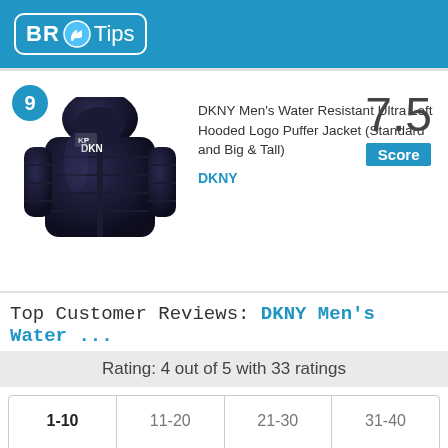[Figure (logo): BR Tips logo with thumbs up icon on blue background]
[Figure (photo): DKNY Men's Water Resistant Ultra Loft Hooded Logo Puffer Jacket - dark navy blue puffer jacket with hood]
DKNY Men's Water Resistant Ultra Loft Hooded Logo Puffer Jacket (Standard and Big & Tall)
DKNY
7.5
Score
Top Customer Reviews: DKNY Men's Water ...
Rating: 4 out of 5 with 33 ratings
1-10	11-20	21-30	31-40
5 / 5   Neta